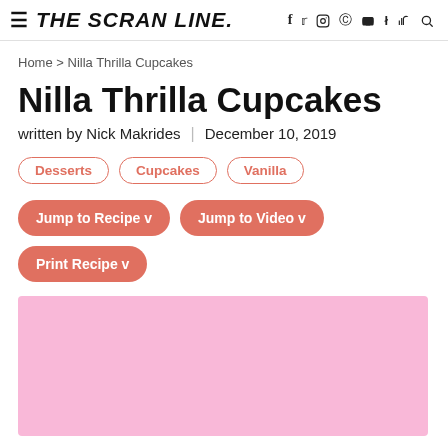THE SCRAN LINE. [navigation icons: f, twitter, instagram, pinterest, youtube, tiktok, search]
Home > Nilla Thrilla Cupcakes
Nilla Thrilla Cupcakes
written by Nick Makrides  |  December 10, 2019
Desserts
Cupcakes
Vanilla
Jump to Recipe v
Jump to Video v
Print Recipe v
[Figure (photo): Pink background hero image placeholder for Nilla Thrilla Cupcakes]